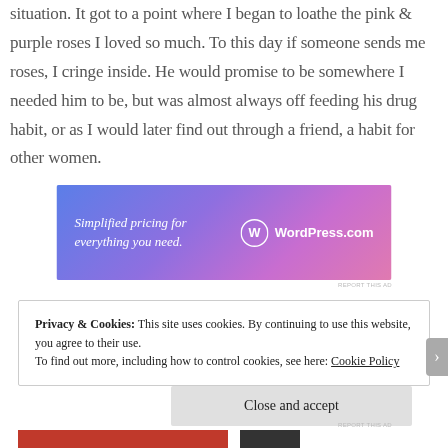situation. It got to a point where I began to loathe the pink & purple roses I loved so much. To this day if someone sends me roses, I cringe inside. He would promise to be somewhere I needed him to be, but was almost always off feeding his drug habit, or as I would later find out through a friend, a habit for other women.
[Figure (other): WordPress.com advertisement banner with purple-pink gradient background. Text reads 'Simplified pricing for everything you need.' with WordPress.com logo.]
REPORT THIS AD
Privacy & Cookies: This site uses cookies. By continuing to use this website, you agree to their use. To find out more, including how to control cookies, see here: Cookie Policy
Close and accept